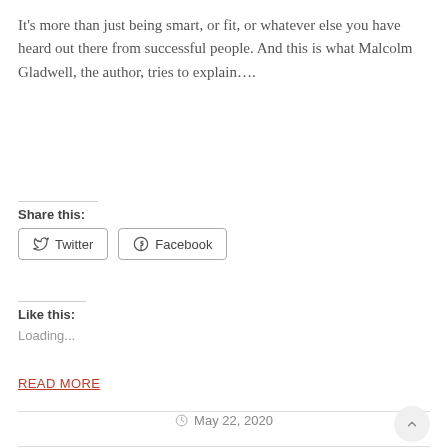It's more than just being smart, or fit, or whatever else you have heard out there from successful people.  And this is what Malcolm Gladwell, the author, tries to explain….
Share this:
Twitter
Facebook
Like this:
Loading...
READ MORE
May 22, 2020